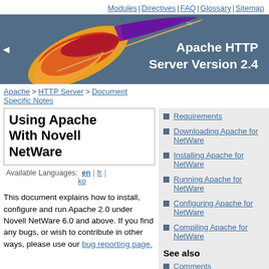Modules | Directives | FAQ | Glossary | Sitemap
[Figure (logo): Apache HTTP Server Version 2.4 banner with feather logo on dark blue-grey background]
Apache > HTTP Server > Documentation > Platform-Specific Notes > Using Apache With Novell NetWare
Using Apache With Novell NetWare
Available Languages: en | fr | ko
Requirements
Downloading Apache for NetWare
Installing Apache for NetWare
Running Apache for NetWare
Configuring Apache for NetWare
Compiling Apache for NetWare
See also
Comments
This document explains how to install, configure and run Apache 2.0 under Novell NetWare 6.0 and above. If you find any bugs, or wish to contribute in other ways, please use our bug reporting page.